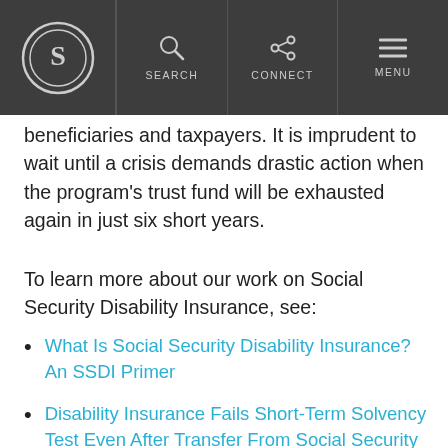SEARCH | CONNECT | MENU
beneficiaries and taxpayers. It is imprudent to wait until a crisis demands drastic action when the program's trust fund will be exhausted again in just six short years.
To learn more about our work on Social Security Disability Insurance, see:
What Is Social Security Disability Insurance? An SSDI Primer
Disability Insurance Fails Short-Term Solvency Test Even After Transfer From Social Security
How Do We Get Those Able to Work Off of Disability?